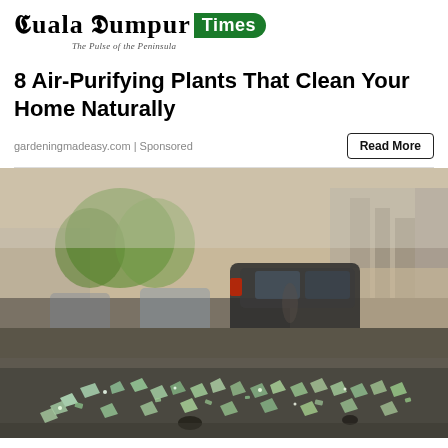[Figure (logo): Kuala Lumpur Times newspaper logo — gothic/blackletter 'Kuala Lumpur' text with green badge reading 'Times' and tagline 'The Pulse of the Peninsula']
8 Air-Purifying Plants That Clean Your Home Naturally
gardeningmadeasy.com | Sponsored
Read More
[Figure (photo): Street-level photo showing shattered glass scattered on pavement in the foreground, with a blurred street scene in the background featuring a dark car, other vehicles, buildings, and trees]